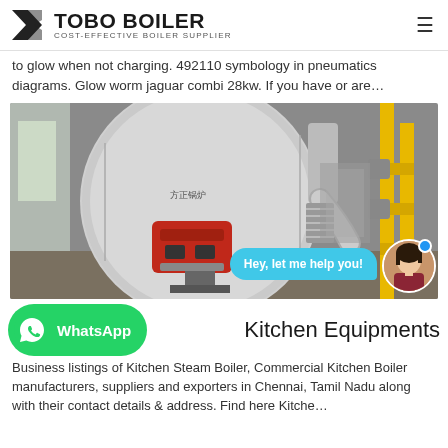TOBO BOILER — COST-EFFECTIVE BOILER SUPPLIER
to glow when not charging. 492110 symbology in pneumatics diagrams. Glow worm jaguar combi 28kw. If you have or are…
[Figure (photo): Industrial boiler equipment in a factory setting — large cylindrical boiler with red burner unit, silver ventilation ducts and yellow piping. Overlay: chat bubble saying 'Hey, let me help you!' with avatar of a woman.]
[Figure (logo): WhatsApp button (green rounded rectangle with WhatsApp icon and text 'WhatsApp')]
Kitchen Equipments
Business listings of Kitchen Steam Boiler, Commercial Kitchen Boiler manufacturers, suppliers and exporters in Chennai, Tamil Nadu along with their contact details & address. Find here Kitche…